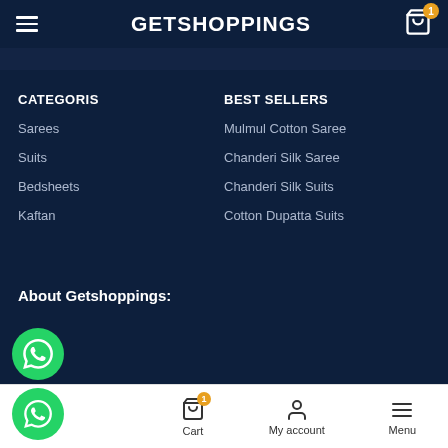GETSHOPPINGS
CATEGORIS
Sarees
Suits
Bedsheets
Kaftan
BEST SELLERS
Mulmul Cotton Saree
Chanderi Silk Saree
Chanderi Silk Suits
Cotton Dupatta Suits
About Getshoppings:
Home | Cart | My account | Menu